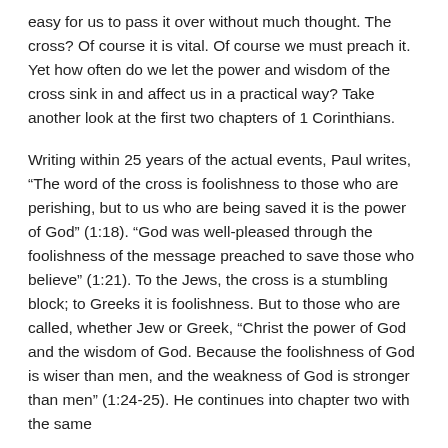easy for us to pass it over without much thought. The cross? Of course it is vital. Of course we must preach it. Yet how often do we let the power and wisdom of the cross sink in and affect us in a practical way? Take another look at the first two chapters of 1 Corinthians.
Writing within 25 years of the actual events, Paul writes, “The word of the cross is foolishness to those who are perishing, but to us who are being saved it is the power of God” (1:18). “God was well-pleased through the foolishness of the message preached to save those who believe” (1:21). To the Jews, the cross is a stumbling block; to Greeks it is foolishness. But to those who are called, whether Jew or Greek, “Christ the power of God and the wisdom of God. Because the foolishness of God is wiser than men, and the weakness of God is stronger than men” (1:24-25). He continues into chapter two with the same